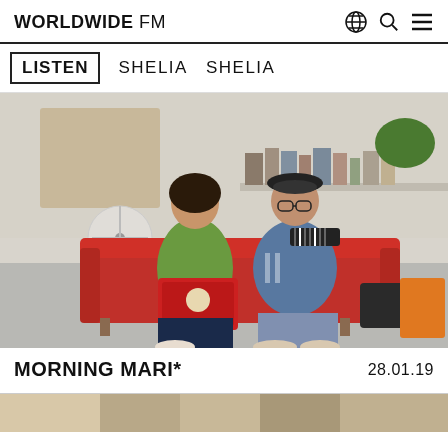WORLDWIDE FM
LISTEN   SHELIA   SHELIA
[Figure (photo): Two people sitting on a red couch. A woman in a green blouse holding a red case with stickers, and a man in a denim jacket and beret playing a melodica. Room with shelves, books, a fan and various items in background.]
MORNING MARI*
28.01.19
[Figure (photo): Partial view of another photo at the bottom of the page.]